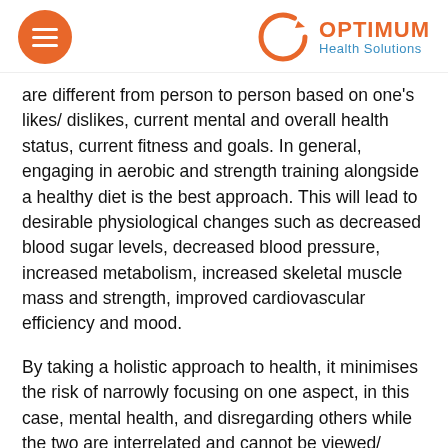[Figure (logo): Optimum Health Solutions logo with orange hamburger menu icon on left and circular arrow logo with orange OPTIMUM and blue Health Solutions text on right]
are different from person to person based on one's likes/ dislikes, current mental and overall health status, current fitness and goals. In general, engaging in aerobic and strength training alongside a healthy diet is the best approach. This will lead to desirable physiological changes such as decreased blood sugar levels, decreased blood pressure, increased metabolism, increased skeletal muscle mass and strength, improved cardiovascular efficiency and mood.
By taking a holistic approach to health, it minimises the risk of narrowly focusing on one aspect, in this case, mental health, and disregarding others while the two are interrelated and cannot be viewed/ treated in isolation. For